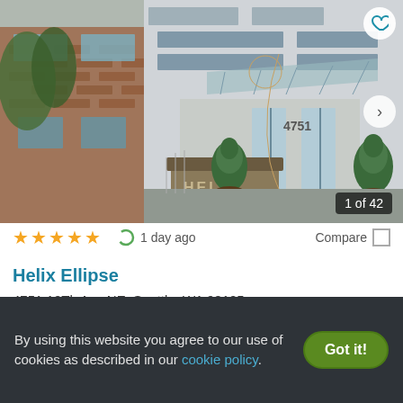[Figure (photo): Exterior photo of Helix Ellipse apartment building in Seattle. Shows a modern building entrance with glass doors, brick facade on left, topiary bushes, a sculptural metal element, raised planter bed with 'HELIX' text, and a glass canopy over the entrance. Badge shows '1 of 42'.]
★★★★★ (4.5 stars) | 1 day ago | Compare
Helix Ellipse
4751 12Th Ave NE, Seattle, WA 98105
✓ 1 Unit available   ✓ Verified
2 BEDS
By using this website you agree to our use of cookies as described in our cookie policy.